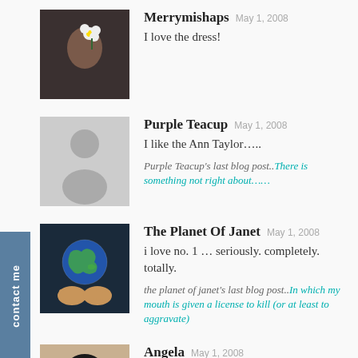[Figure (other): Contact me vertical sidebar tab in steel blue]
Merrymishaps May 1, 2008
I love the dress!
Purple Teacup May 1, 2008
I like the Ann Taylor…..
Purple Teacup's last blog post..There is something not right about……
The Planet Of Janet May 1, 2008
i love no. 1 … seriously. completely. totally.
the planet of janet's last blog post..In which my mouth is given a license to kill (or at least to aggravate)
Angela May 1, 2008
Um… I like the last one. But this is a tough